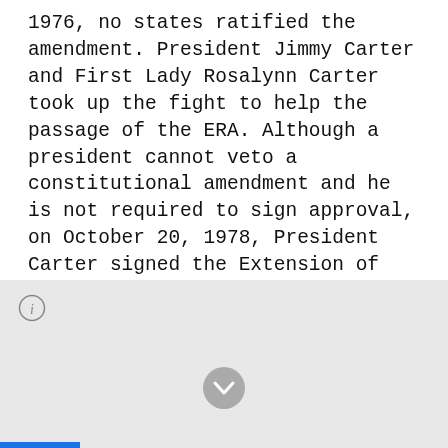1976, no states ratified the amendment. President Jimmy Carter and First Lady Rosalynn Carter took up the fight to help the passage of the ERA. Although a president cannot veto a constitutional amendment and he is not required to sign approval, on October 20, 1978, President Carter signed the Extension of the Equal Rights Amendment Ratification (H.J.Res.638) as a gesture to show how strongly he felt about it and how much he supported extending the ratification time limit to 1982.
[Figure (other): Light gray panel with an info icon (circle with letter i) in the top-left corner, a gray circular chevron/down-arrow button centered near the bottom, and a blue bar at the very bottom-left edge.]